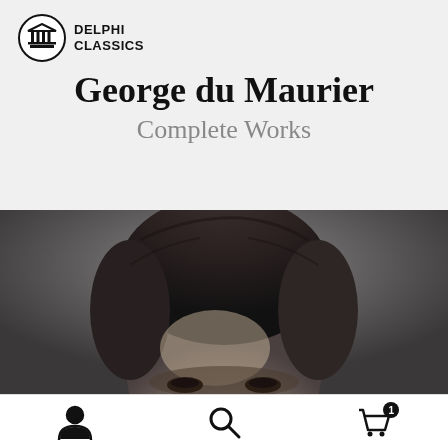[Figure (logo): Delphi Classics logo: a circular emblem with a Greek column/temple icon, next to the text DELPHI CLASSICS in bold uppercase.]
George du Maurier
Complete Works
[Figure (photo): Black and white portrait photograph showing the top half of a man's face with dark curly hair, looking slightly downward. The image is cropped at the eyes/nose level.]
[Figure (other): Bottom navigation bar with three icons: a person/user icon, a search/magnifying glass icon, and a shopping cart icon with a badge showing the number 1.]